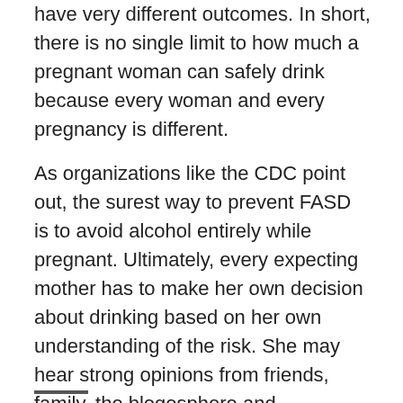have very different outcomes. In short, there is no single limit to how much a pregnant woman can safely drink because every woman and every pregnancy is different.
As organizations like the CDC point out, the surest way to prevent FASD is to avoid alcohol entirely while pregnant. Ultimately, every expecting mother has to make her own decision about drinking based on her own understanding of the risk. She may hear strong opinions from friends, family, the blogosphere and conventional media. Lots of people will seem sure of many things and those are precisely the people that she should ignore.
When making any important decision, it's best to know as much as you can – even when that means knowing how much remains unknown.